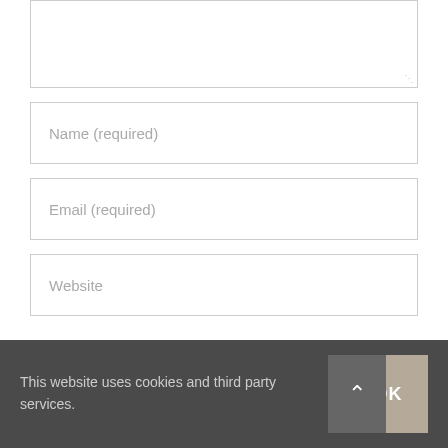[Figure (screenshot): A textarea (comment box) with a resize handle at the bottom right, partially visible at top of page]
Name (required)
Email (required)
Website
Save my name, email, and website in this
This website uses cookies and third party services.
OK